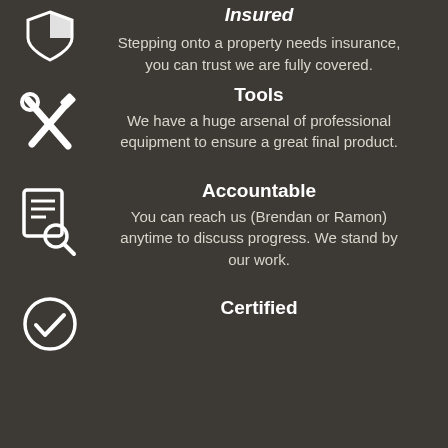[Figure (illustration): Shield with checkered pattern icon (partial, top of page)]
Insured
Stepping onto a property needs insurance, you can trust we are fully covered.
[Figure (illustration): Crossed wrench and screwdriver tools icon]
Tools
We have a huge arsenal of professional equipment to ensure a great final product.
[Figure (illustration): Document with magnifying glass / checklist icon]
Accountable
You can reach us (Brendan or Ramon) anytime to discuss progress. We stand by our work.
[Figure (illustration): Circle with checkmark icon (Certified, partial at bottom)]
Certified